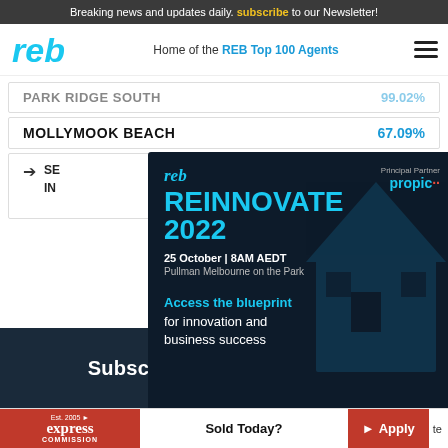Breaking news and updates daily. subscribe to our Newsletter!
[Figure (logo): REB logo - home of the REB Top 100 Agents nav bar]
PARK RIDGE SOUTH   99.02%
MOLLYMOOK BEACH   67.09%
SEE PROPERTIES IN ... (partially hidden)
[Figure (infographic): REB Reinnovate 2022 advertisement. Principal Partner: propic. 25 October | 8AM AEDT, Pullman Melbourne on the Park. Access the blueprint for innovation and business success. FIRST RELEASE $229.]
Subscribe to reb Newsletter
Est. 2005 express COMMISSION | Sold Today? | Apply | te